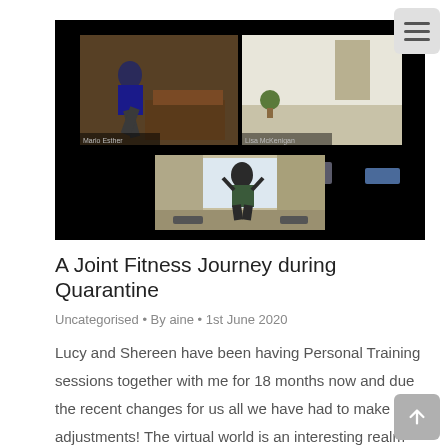[Figure (screenshot): Screenshot of a video call showing three participants doing fitness exercises at home. Top-left shows a person in a blue top doing a lunge in a living room. Top-right shows an empty room with a yoga mat on the floor. Bottom-center shows a person doing a squat exercise in a living room. All set against a black background.]
A Joint Fitness Journey during Quarantine
Uncategorised • By aine • 1st June 2020
Lucy and Shereen have been having Personal Training sessions together with me for 18 months now and due the recent changes for us all we have had to make a few adjustments! The virtual world is an interesting realm that takes a bit of getting used to